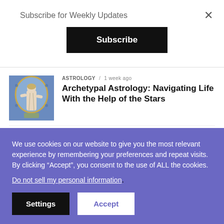Subscribe for Weekly Updates
Subscribe
ASTROLOGY / 1 week ago
Archetypal Astrology: Navigating Life With the Help of the Stars
[Figure (photo): Religious or classical painting/statue of a figure in an arched setting with blue decorative background]
PERSONAL DEVELOPMENT / 1 week ago
Face Reading: Understanding Your
[Figure (photo): Three people photographed together, appears to be a group portrait with blue attire]
We use cookies on our website to give you the most relevant experience by remembering your preferences and repeat visits. By clicking “Accept”, you consent to the use of ALL the cookies.
Do not sell my personal information.
Settings
Accept